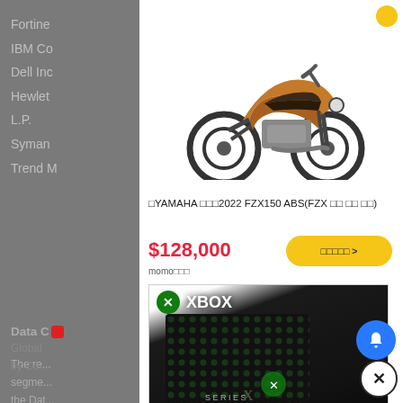Fortine
IBM Co
Dell Inc
Hewlet
L.P.
Syman
Trend M
[Figure (photo): Orange and black Yamaha FZX150 motorcycle on white background]
□YAMAHA □□□2022 FZX150 ABS(FZX □□ □□ □□)
$128,000
□□□□□ >
momo□□□
Data C□
The re...
segme...
the Dat...
opportu...
[Figure (photo): Xbox Series X console box with Xbox logo and green stripe reading 台灣公司貨]
□□Xbox Series X 1TB□□□□
$15,380
□□□□□ >
Global
by Co...